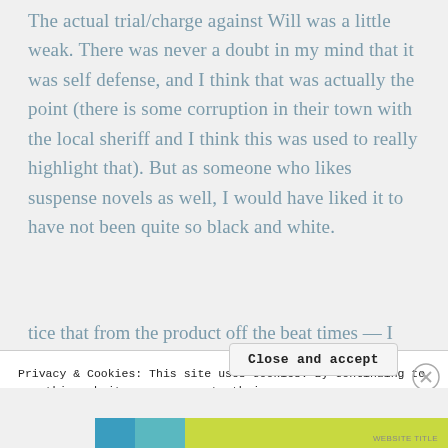The actual trial/charge against Will was a little weak. There was never a doubt in my mind that it was self defense, and I think that was actually the point (there is some corruption in their town with the local sheriff and I think this was used to really highlight that).  But as someone who likes suspense novels as well, I would have liked it to have not been quite so black and white.
tice that from the product off the beat times — I
Privacy & Cookies: This site uses cookies. By continuing to use this website, you agree to their use.
To find out more, including how to control cookies, see here: Cookie Policy